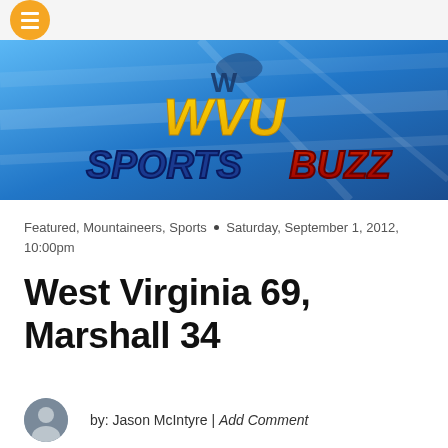[Figure (logo): WVU Sports Buzz banner with blue background, orange and yellow stylized text logo and WVU mountaineers flying WV logo]
Featured, Mountaineers, Sports • Saturday, September 1, 2012, 10:00pm
West Virginia 69, Marshall 34
by: Jason McIntyre | Add Comment